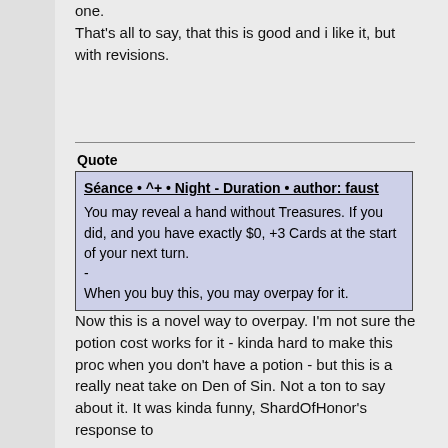one.
That's all to say, that this is good and i like it, but with revisions.
Quote
Séance • ^+ • Night - Duration • author: faust
You may reveal a hand without Treasures. If you did, and you have exactly $0, +3 Cards at the start of your next turn.
-
When you buy this, you may overpay for it.
Now this is a novel way to overpay. I'm not sure the potion cost works for it - kinda hard to make this proc when you don't have a potion - but this is a really neat take on Den of Sin. Not a ton to say about it. It was kinda funny, ShardOfHonor's response to